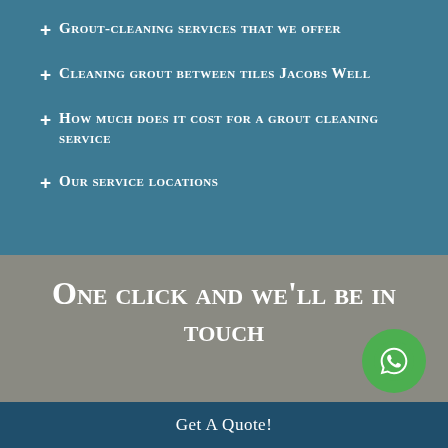+ Grout-cleaning services that we offer
+ Cleaning grout between tiles Jacobs Well
+ How much does it cost for a grout cleaning service
+ Our service locations
One click and we'll be in touch
Get A Quote!